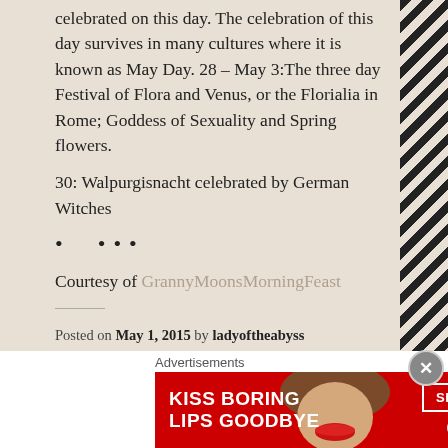celebrated on this day. The celebration of this day survives in many cultures where it is known as May Day. 28 – May 3:The three day Festival of Flora and Venus, or the Florialia in Rome; Goddess of Sexuality and Spring flowers.
30: Walpurgisnacht celebrated by German Witches
• • • •
Courtesy of GrannyMoonsMorningFeast
Posted on May 1, 2015 by ladyoftheabyss
Posted in Articles, Daily Posts
Tagged Bona Dea, Earth Goddess, Goddess Maia, Labor Day, San Domenico, venomous snakes.
Advertisements
[Figure (illustration): Advertisement banner for Macy's with red background reading 'KISS BORING LIPS GOODBYE' with SHOP NOW button and Macy's logo with star]